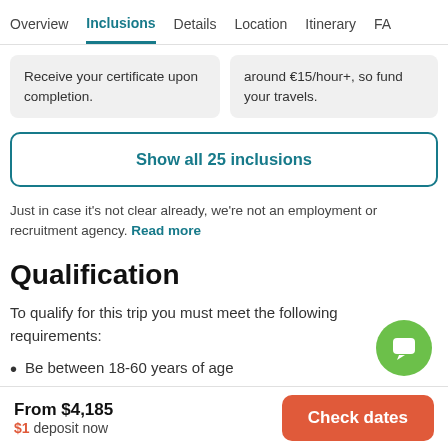Overview  Inclusions  Details  Location  Itinerary  FA
Receive your certificate upon completion.
around €15/hour+, so fund your travels.
Show all 25 inclusions
Just in case it's not clear already, we're not an employment or recruitment agency. Read more
Qualification
To qualify for this trip you must meet the following requirements:
Be between 18-60 years of age
From $4,185  $1 deposit now  Check dates